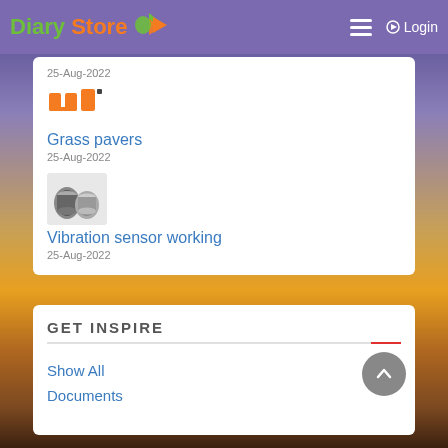Diary Store — Login
25-Aug-2022
[Figure (logo): Orange angular logo mark resembling stylized letters JU with a dash]
Grass pavers
25-Aug-2022
[Figure (photo): Photo of two metallic ink ribbon rolls / vibration sensors, silver and dark cylindrical objects]
Vibration sensor working
25-Aug-2022
GET INSPIRE
Show All
Documents
[Figure (illustration): Grey circular scroll-to-top button with upward chevron arrow]